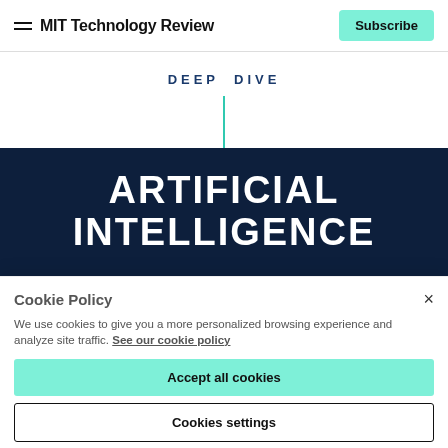MIT Technology Review | Subscribe
DEEP DIVE
ARTIFICIAL INTELLIGENCE
Cookie Policy
We use cookies to give you a more personalized browsing experience and analyze site traffic. See our cookie policy
Accept all cookies
Cookies settings